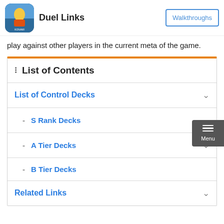Duel Links | Walkthroughs
play against other players in the current meta of the game.
List of Contents
List of Control Decks
- S Rank Decks
- A Tier Decks
- B Tier Decks
Related Links